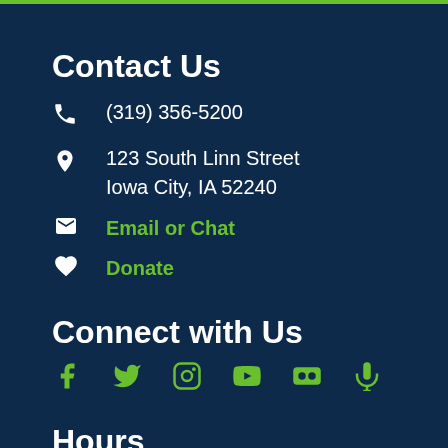Contact Us
(319) 356-5200
123 South Linn Street
Iowa City, IA 52240
Email or Chat
Donate
Connect with Us
[Figure (infographic): Social media icons row: Facebook, Twitter, Instagram, YouTube, Flickr, Podcast/Microphone — all in green]
Hours
Mon - Thu: 10am to 9pm